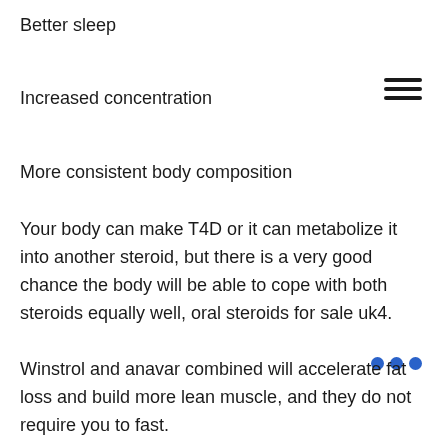Better sleep
Increased concentration
More consistent body composition
Your body can make T4D or it can metabolize it into another steroid, but there is a very good chance the body will be able to cope with both steroids equally well, oral steroids for sale uk4.
Winstrol and anavar combined will accelerate fat loss and build more lean muscle, and they do not require you to fast.
Athletes who use Athlete Weightlifting will have a better outcome than athletes who use a barbell method of weightlifting, and athletes who use a combination of weightlifting and aerobics routines will likely get